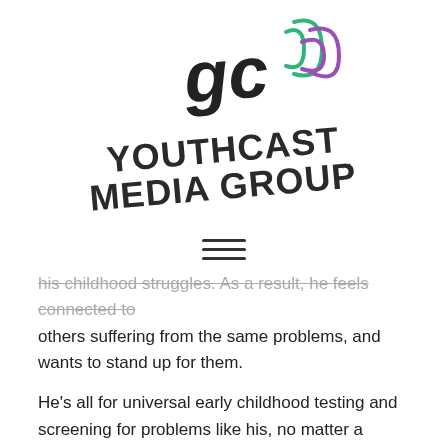[Figure (logo): Youthcast Media Group logo with stylized 'gc' megaphone icon and colored sound waves in green and purple, with bold text 'YOUTHCAST MEDIA GROUP' and trademark symbol]
[Figure (other): Hamburger menu icon — three horizontal lines]
his childhood struggles. As a result, he feels connected to others suffering from the same problems, and wants to stand up for them.
He's all for universal early childhood testing and screening for problems like his, no matter a person's race or economic status.